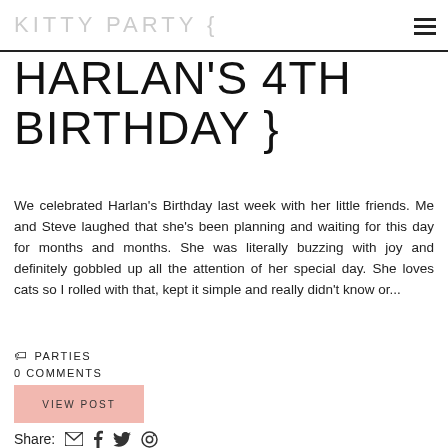KITTY PARTY {
HARLAN'S 4TH BIRTHDAY }
We celebrated Harlan's Birthday last week with her little friends. Me and Steve laughed that she's been planning and waiting for this day for months and months. She was literally buzzing with joy and definitely gobbled up all the attention of her special day. She loves cats so I rolled with that, kept it simple and really didn't know or...
PARTIES
0 COMMENTS
VIEW POST
Share: